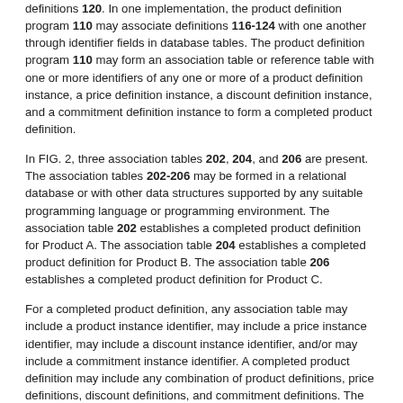definitions 120. In one implementation, the product definition program 110 may associate definitions 116-124 with one another through identifier fields in database tables. The product definition program 110 may form an association table or reference table with one or more identifiers of any one or more of a product definition instance, a price definition instance, a discount definition instance, and a commitment definition instance to form a completed product definition.
In FIG. 2, three association tables 202, 204, and 206 are present. The association tables 202-206 may be formed in a relational database or with other data structures supported by any suitable programming language or programming environment. The association table 202 establishes a completed product definition for Product A. The association table 204 establishes a completed product definition for Product B. The association table 206 establishes a completed product definition for Product C.
For a completed product definition, any association table may include a product instance identifier, may include a price instance identifier, may include a discount instance identifier, and/or may include a commitment instance identifier. A completed product definition may include any combination of product definitions, price definitions, discount definitions, and commitment definitions. The association table 202 for Product A includes a product instance identifier 208, a price instance identifier 210, a discount instance identifier 212, and a commitment instance identifier 214